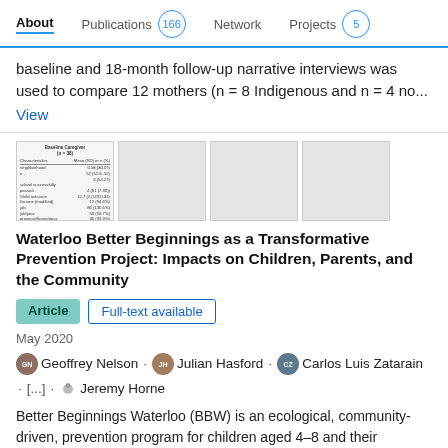About  Publications 166  Network  Projects 5
baseline and 18-month follow-up narrative interviews was used to compare 12 mothers (n = 8 Indigenous and n = 4 no...
View
[Figure (table-as-image): Thumbnail preview of a table showing Baseline Caregiver data with rows for characteristics including neighborhood, child outcome, income, job, province/home/pass, first interview, home square]
[Figure (other): Blank gray thumbnail]
[Figure (other): Blank gray thumbnail]
[Figure (other): Blank gray thumbnail]
Waterloo Better Beginnings as a Transformative Prevention Project: Impacts on Children, Parents, and the Community
Article  Full-text available
May 2020
Geoffrey Nelson · Julian Hasford · Carlos Luis Zatarain · [...] · Jeremy Horne
Better Beginnings Waterloo (BBW) is an ecological, community-driven, prevention program for children aged 4–8 and their families. BBW was implemented in two low-income communities with high concentrations of child poverty in...